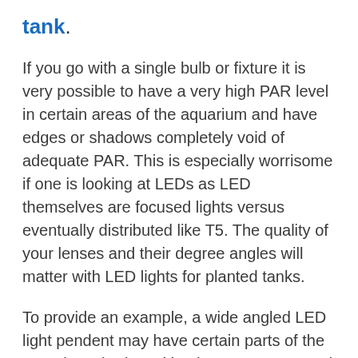tank.
If you go with a single bulb or fixture it is very possible to have a very high PAR level in certain areas of the aquarium and have edges or shadows completely void of adequate PAR. This is especially worrisome if one is looking at LEDs as LED themselves are focused lights versus eventually distributed like T5. The quality of your lenses and their degree angles will matter with LED lights for planted tanks.
To provide an example, a wide angled LED light pendent may have certain parts of the aquarium shadowed by the aquascape and plants but a T5 fixture or a wide angled LED array will not have such an issue. When look